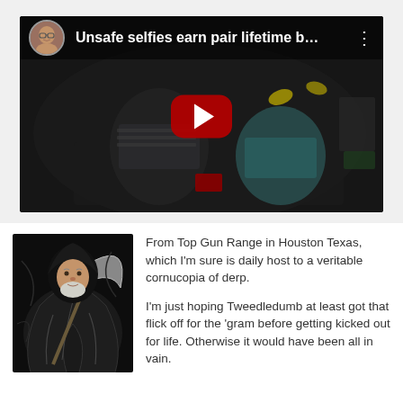[Figure (screenshot): YouTube video thumbnail showing a dark overhead/fisheye security camera view of people inside what appears to be a gun range. Top bar shows a round avatar (man's face), the title 'Unsafe selfies earn pair lifetime b...' and a three-dot menu icon. A red YouTube play button is overlaid in the center.]
[Figure (illustration): Dark illustration of the Grim Reaper figure wearing a black robe and holding a scythe, with a man's face/beard superimposed on the reaper.]
From Top Gun Range in Houston Texas, which I'm sure is daily host to a veritable cornucopia of derp.

I'm just hoping Tweedledumb at least got that flick off for the 'gram before getting kicked out for life.  Otherwise it would have been all in vain.